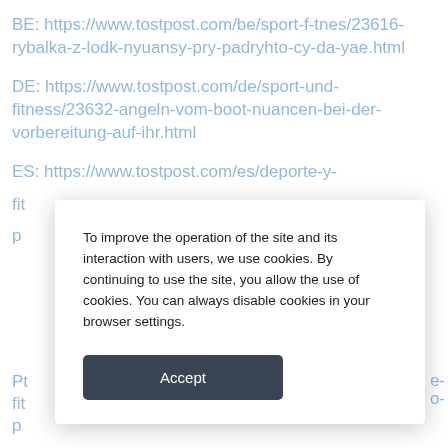BE: https://www.tostpost.com/be/sport-f-tnes/23616-rybalka-z-lodk-nyuansy-pry-padryhto-cy-da-yae.html
DE: https://www.tostpost.com/de/sport-und-fitness/23632-angeln-vom-boot-nuancen-bei-der-vorbereitung-auf-ihr.html
ES: https://www.tostpost.com/es/deporte-y-fit...
To improve the operation of the site and its interaction with users, we use cookies. By continuing to use the site, you allow the use of cookies. You can always disable cookies in your browser settings.
Accept